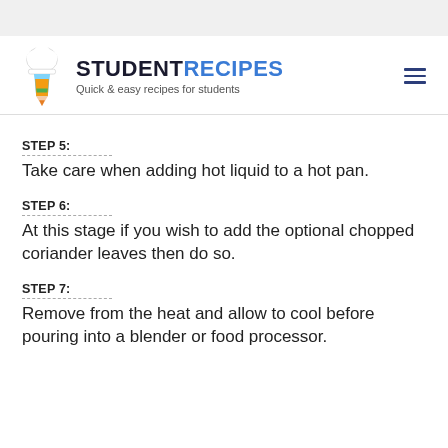STUDENTRECIPES — Quick & easy recipes for students
STEP 5:
Take care when adding hot liquid to a hot pan.
STEP 6:
At this stage if you wish to add the optional chopped coriander leaves then do so.
STEP 7:
Remove from the heat and allow to cool before pouring into a blender or food processor.